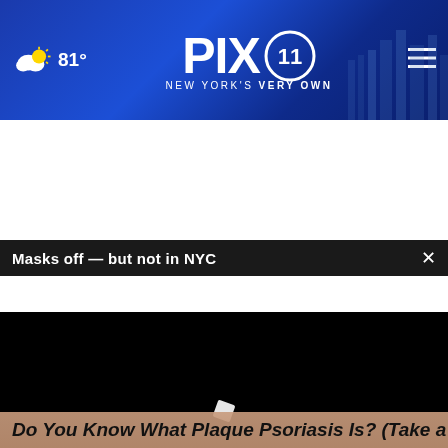PIX11 New York's Very Own - 81° weather - navigation menu
Masks off — but not in NYC
[Figure (screenshot): Black video player area with loading spinner icon]
[Figure (photo): Close-up photo of skin/face, partially visible, with advertisement overlay and close button]
Listen to the new podcast about adoption.
Do You Know What Plaque Psoriasis Is? (Take a